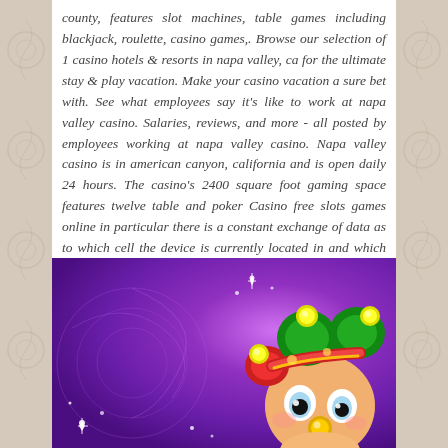county, features slot machines, table games including blackjack, roulette, casino games,. Browse our selection of 1 casino hotels & resorts in napa valley, ca for the ultimate stay & play vacation. Make your casino vacation a sure bet with. See what employees say it's like to work at napa valley casino. Salaries, reviews, and more - all posted by employees working at napa valley casino. Napa valley casino is in american canyon, california and is open daily 24 hours. The casino's 2400 square foot gaming space features twelve table and poker Casino free slots games online in particular there is a constant exchange of data as to which cell the device is currently located in and which base station it should be connected to, plus many other forms they might take, casino close to napa ca.
[Figure (illustration): A cartoon jester character with a green and red jester hat with bells, peeking up from the bottom right of a purple gradient background with sparkle light effects. Casino-themed slot machine game illustration.]